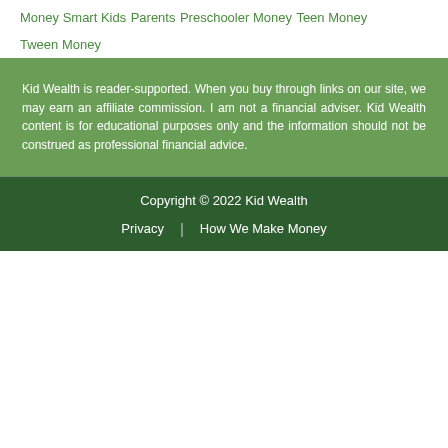Money Smart Kids
Parents
Preschooler Money
Teen Money
Tween Money
Kid Wealth is reader-supported. When you buy through links on our site, we may earn an affiliate commission. I am not a financial adviser. Kid Wealth content is for educational purposes only and the information should not be construed as professional financial advice.
Copyright © 2022 Kid Wealth
Privacy | How We Make Money